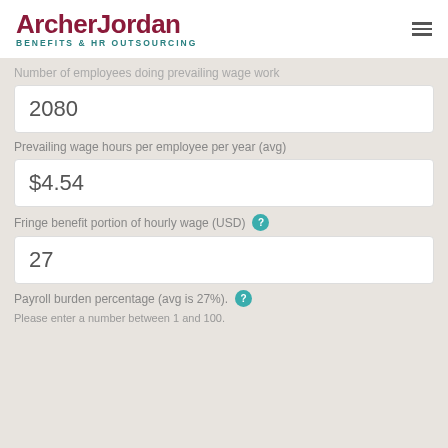ArcherJordan BENEFITS & HR OUTSOURCING
Number of employees doing prevailing wage work
2080
Prevailing wage hours per employee per year (avg)
$4.54
Fringe benefit portion of hourly wage (USD)
27
Payroll burden percentage (avg is 27%).
Please enter a number between 1 and 100.